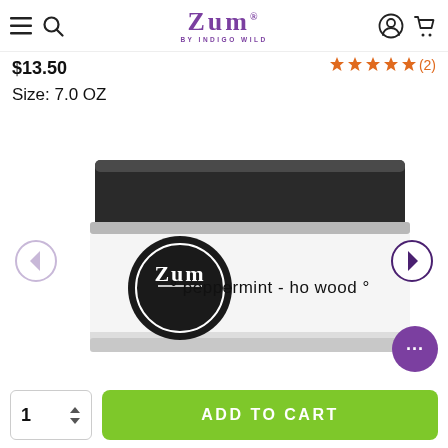Zum by Indigo Wild — navigation header with hamburger menu, search icon, logo, account icon, cart icon
$13.50
★★★★★ (2)
Size: 7.0 OZ
[Figure (photo): Zum brand peppermint-ho wood product tin, shown from the side. Round tin with dark grey lid and white label reading 'Zum · peppermint - ho wood ·'. Navigation arrows (left/right) flank the image.]
ADD TO CART
1